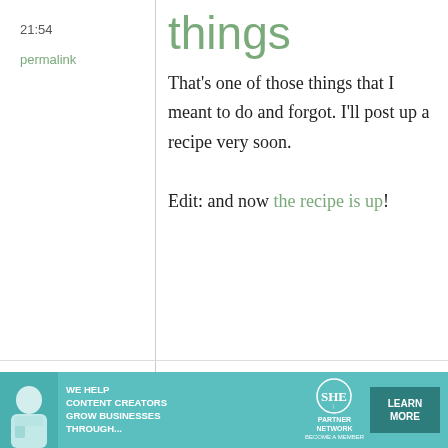21:54
permalink
things
That's one of those things that I meant to do and forgot. I'll post up a recipe very soon.

Edit: and now the recipe is up!
Dogman
15
Konbu Crazy!
[Figure (other): Advertisement banner: SHE Partner Network - We help content creators grow businesses through... Learn More]